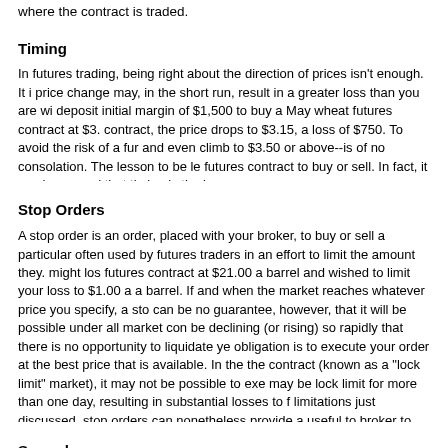where the contract is traded.
Timing
In futures trading, being right about the direction of prices isn't enough. It i price change may, in the short run, result in a greater loss than you are wi deposit initial margin of $1,500 to buy a May wheat futures contract at $3. contract, the price drops to $3.15, a loss of $750. To avoid the risk of a fur and even climb to $3.50 or above--is of no consolation. The lesson to be l futures contract to buy or sell. In fact, it can be argued that timing is the ke
Stop Orders
A stop order is an order, placed with your broker, to buy or sell a particular often used by futures traders in an effort to limit the amount they. might los futures contract at $21.00 a barrel and wished to limit your loss to $1.00 a a barrel. If and when the market reaches whatever price you specify, a sto can be no guarantee, however, that it will be possible under all market con be declining (or rising) so rapidly that there is no opportunity to liquidate ye obligation is to execute your order at the best price that is available. In the the contract (known as a "lock limit" market), it may not be possible to exe may be lock limit for more than one day, resulting in substantial losses to f limitations just discussed, stop orders can nonetheless provide a useful to broker to execute a stop order at or near the specified price. In addition to have bought crude oil futures at $21.00 a barrel and the price is now at $2 (again subject to the described limitations of stop orders) could protect $2
Spreads